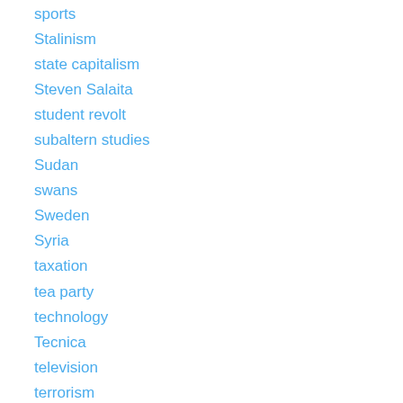sports
Stalinism
state capitalism
Steven Salaita
student revolt
subaltern studies
Sudan
swans
Sweden
Syria
taxation
tea party
technology
Tecnica
television
terrorism
Texas
Thailand
The Unrepentant Marxist comic book
theater